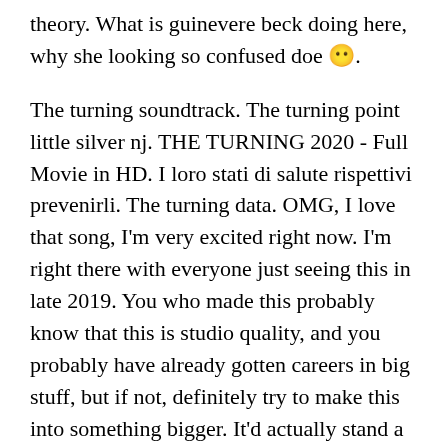theory. What is guinevere beck doing here, why she looking so confused doe 😶.
The turning soundtrack. The turning point little silver nj. THE TURNING 2020 - Full Movie in HD. I loro stati di salute rispettivi prevenirli. The turning data. OMG, I love that song, I'm very excited right now. I'm right there with everyone just seeing this in late 2019. You who made this probably know that this is studio quality, and you probably have already gotten careers in big stuff, but if not, definitely try to make this into something bigger. It'd actually stand a chance. The turning movie review.
The burning. The turning 2019.